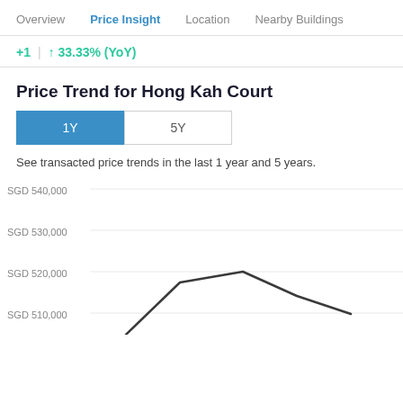Overview  Price Insight  Location  Nearby Buildings
+1  |  ↑ 33.33% (YoY)
Price Trend for Hong Kah Court
1Y  5Y
See transacted price trends in the last 1 year and 5 years.
[Figure (line-chart): Line chart showing transacted price trend with y-axis labels SGD 510,000, SGD 520,000, SGD 530,000, SGD 540,000 and a partial line visible rising toward SGD 520,000 range]